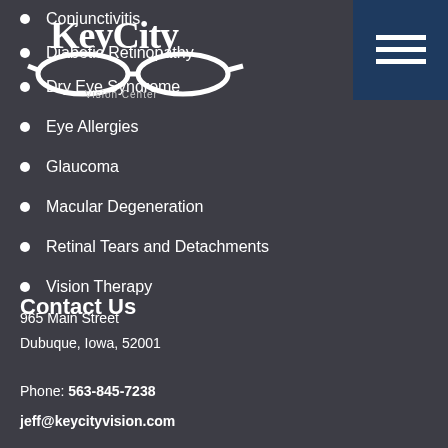[Figure (logo): Key City Vision Center logo with glasses icon]
Conjunctivitis
Diabetic Retinopathy
Dry Eye Syndrome
Eye Allergies
Glaucoma
Macular Degeneration
Retinal Tears and Detachments
Vision Therapy
Contact Us
965 Main Street
Dubuque, Iowa, 52001
Phone: 563-845-7238
jeff@keycityvision.com